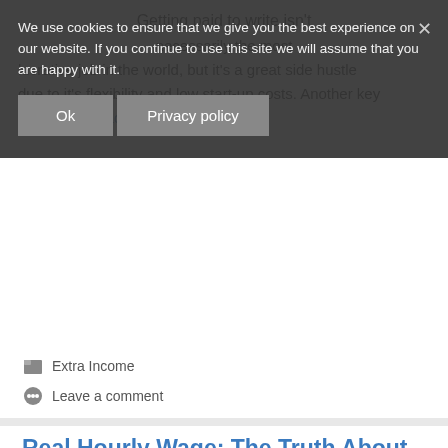Getting paid to write isn't necessarily the most lucrative job in the world, but it's a great side hustle due to it's flexibility and low start-up costs. Another key benefit … Read more
We use cookies to ensure that we give you the best experience on our website. If you continue to use this site we will assume that you are happy with it.
Ok
Privacy policy
Extra Income
Leave a comment
Real Hourly Wage: The Truth About What You Make Per Hour
July 14, 2019 by Pinyo Bhulipongsanon